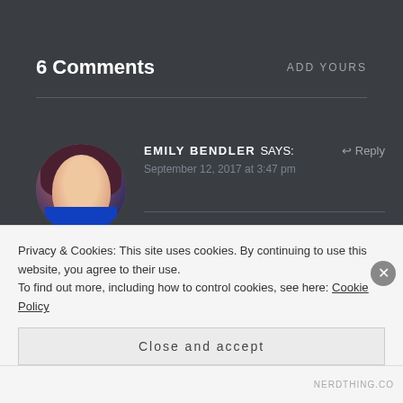6 Comments
ADD YOURS
EMILY BENDLER says:
Reply
September 12, 2017 at 3:47 pm
My preschooler is obsessed with the Ghostbusters (The original) and therefore, he's obsessed with slime.
Privacy & Cookies: This site uses cookies. By continuing to use this website, you agree to their use.
To find out more, including how to control cookies, see here: Cookie Policy
Close and accept